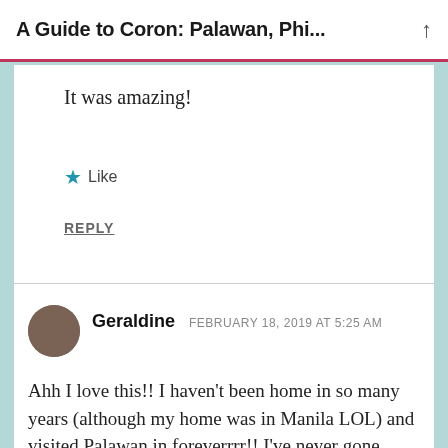A Guide to Coron: Palawan, Phi...
It was amazing!
★ Like
REPLY
Geraldine   FEBRUARY 18, 2019 AT 5:25 AM
Ahh I love this!! I haven't been home in so many years (although my home was in Manila LOL) and visited Palawan in foreverrrr!! I've never gone snorkeling